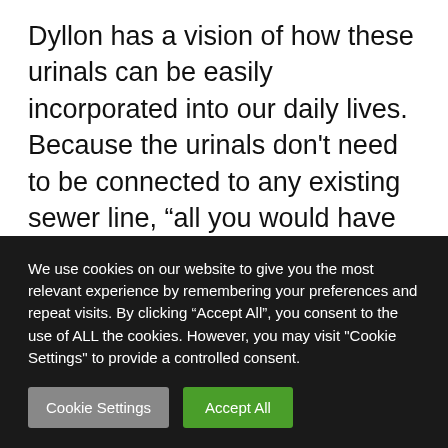Dyllon has a vision of how these urinals can be easily incorporated into our daily lives.  Because the urinals don't need to be connected to any existing sewer line, "all you would have to do is remove the existing urinals and put in a standalone entity: the fertiliser-producing urinals," he tells me. Once collected, the urine can be transported for treatment, or just treated on-site (the latter of which is ideal, considering that urine is 95% water). "If you concentrate it on site, and you just
We use cookies on our website to give you the most relevant experience by remembering your preferences and repeat visits. By clicking "Accept All", you consent to the use of ALL the cookies. However, you may visit "Cookie Settings" to provide a controlled consent.